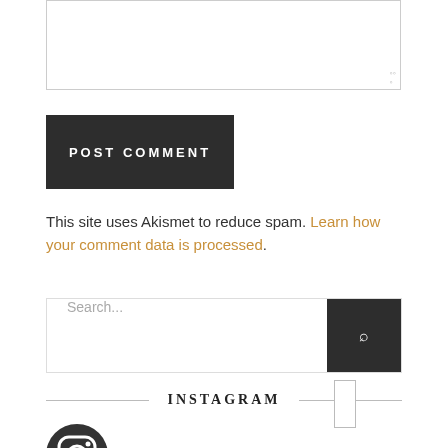[Figure (other): Textarea input box for comment]
POST COMMENT
This site uses Akismet to reduce spam. Learn how your comment data is processed.
[Figure (other): Search input field with search button]
INSTAGRAM
shesays.it